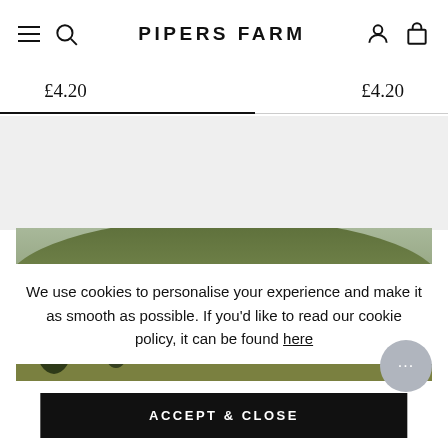PIPERS FARM
£4.20  £4.20
[Figure (photo): Aerial/landscape photo of green rolling farm hills with dark tree clusters]
We use cookies to personalise your experience and make it as smooth as possible. If you'd like to read our cookie policy, it can be found here
ACCEPT & CLOSE